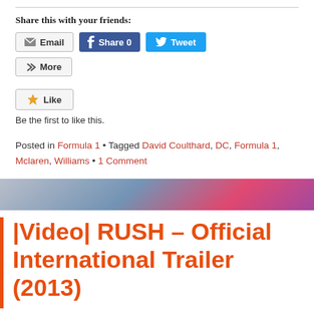Share this with your friends:
[Figure (screenshot): Social sharing buttons: Email, Share 0 (Facebook), Tweet (Twitter), and More]
[Figure (screenshot): Like button with star icon and text 'Be the first to like this.']
Posted in Formula 1 • Tagged David Coulthard, DC, Formula 1, Mclaren, Williams • 1 Comment
[Figure (photo): Partial view of a colorful Formula 1 car livery with blue, red, and purple colors]
|Video| RUSH – Official International Trailer (2013)